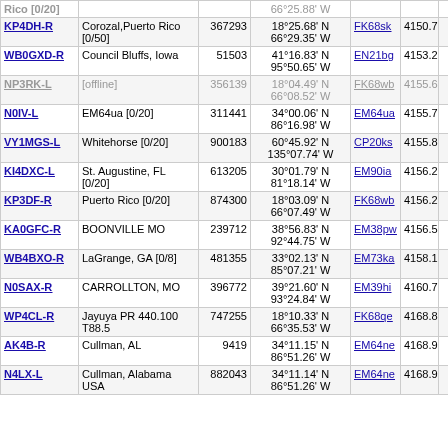| Callsign | Location | Node ID | Coordinates | Grid | Dist | Freq |
| --- | --- | --- | --- | --- | --- | --- |
| KP4DH-R | Corozal,Puerto Rico [0/50] | 367293 | 18°25.68' N 66°29.35' W | FK68sk | 4150.7 | 146.67 |
| WB0GXD-R | Council Bluffs, Iowa | 51503 | 41°16.83' N 95°50.65' W | EN21bg | 4153.2 | 442.52 |
| NP3RK-L | [offline] | 356139 | 18°04.49' N 66°08.52' W | FK68wb | 4155.6 | 448.57 |
| N0IV-L | EM64ua [0/20] | 311441 | 34°00.06' N 86°16.98' W | EM64ua | 4155.7 | 432.20 |
| VY1MGS-L | Whitehorse [0/20] | 900183 | 60°45.92' N 135°07.74' W | CP20ks | 4155.8 |  |
| KI4DXC-L | St. Augustine, FL [0/20] | 613205 | 30°01.79' N 81°18.14' W | EM90ia | 4156.2 |  |
| KP3DF-R | Puerto Rico [0/20] | 874300 | 18°03.09' N 66°07.49' W | FK68wb | 4156.2 | 446.12 |
| KA0GFC-R | BOONVILLE MO | 239712 | 38°56.83' N 92°44.75' W | EM38pw | 4156.5 |  |
| WB4BXO-R | LaGrange, GA [0/8] | 481355 | 33°02.13' N 85°07.21' W | EM73ka | 4158.1 | 224.72 |
| N0SAX-R | CARROLLTON, MO | 396772 | 39°21.60' N 93°24.84' W | EM39hi | 4160.7 |  |
| WP4CL-R | Jayuya PR 440.100 T88.5 | 747255 | 18°10.33' N 66°35.53' W | FK68qe | 4168.8 | 440.10 |
| AK4B-R | Cullman, AL | 9419 | 34°11.15' N 86°51.26' W | EM64ne | 4168.9 | 146.31 |
| N4LX-L | Cullman, Alabama USA | 882043 | 34°11.14' N 86°51.26' W | EM64ne | 4168.9 | 146.48 |